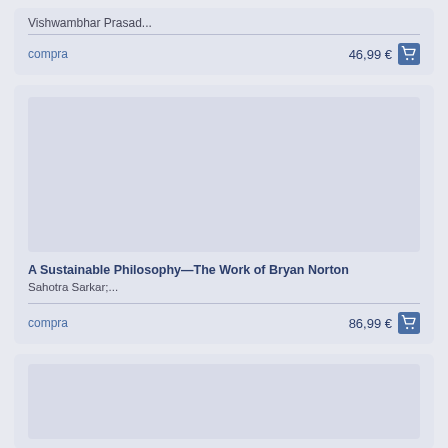Vishwambhar Prasad...
compra
46,99 €
A Sustainable Philosophy—The Work of Bryan Norton
Sahotra Sarkar;...
compra
86,99 €